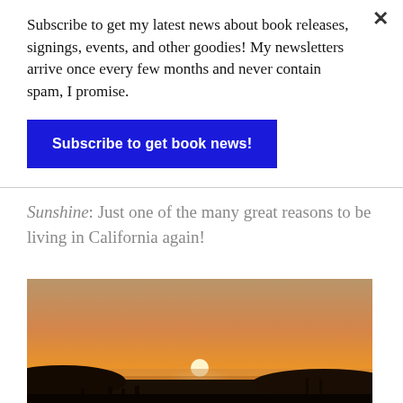Subscribe to get my latest news about book releases, signings, events, and other goodies! My newsletters arrive once every few months and never contain spam, I promise.
Subscribe to get book news!
Sunshine: Just one of the many great reasons to be living in California again!
[Figure (photo): A sunset photo over a California beach with the sun low on the horizon, sky in orange and amber tones, silhouetted landscape and people in the foreground.]